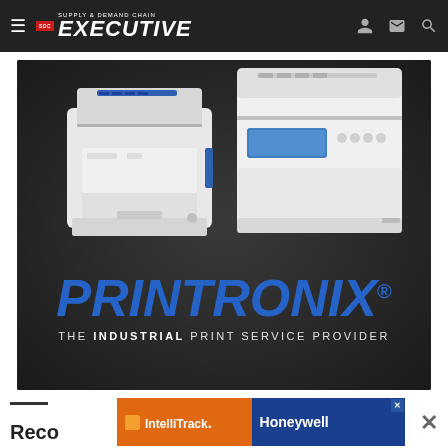SDC Supply & Demand Chain Executive
[Figure (advertisement): Printronix advertisement showing two white industrial laser printers on a dark background with the Printronix logo in blue italic text and tagline 'THE INDUSTRIAL PRINT SERVICE PROVIDER']
[Figure (advertisement): IntelliTrack and Honeywell co-branded banner advertisement at the bottom of the page]
Reco